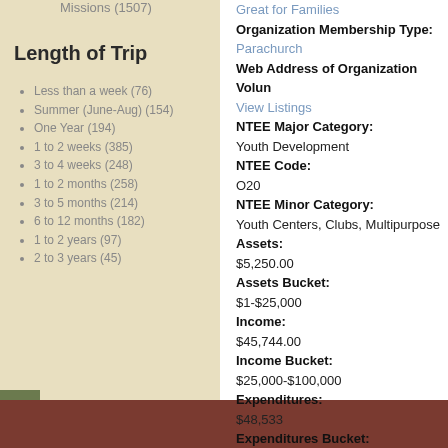Missions (1507)
Length of Trip
Less than a week (76)
Summer (June-Aug) (154)
One Year (194)
1 to 2 weeks (385)
3 to 4 weeks (248)
1 to 2 months (258)
3 to 5 months (214)
6 to 12 months (182)
1 to 2 years (97)
2 to 3 years (45)
Great for Families
Organization Membership Type:
Parachurch
Web Address of Organization Volun
View Listings
NTEE Major Category:
Youth Development
NTEE Code:
O20
NTEE Minor Category:
Youth Centers, Clubs, Multipurpose
Assets:
$5,250.00
Assets Bucket:
$1-$25,000
Income:
$45,744.00
Income Bucket:
$25,000-$100,000
Expenditures:
$48,533
Expenditures Bucket:
$25,000-$100,000
Form 990 Revenue Amount:
$45,744.00